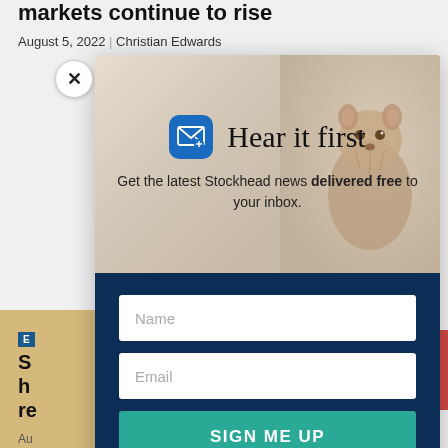markets continue to rise
August 5, 2022 | Christian Edwards
[Figure (screenshot): Modal popup on a news website showing a newsletter signup form. Top half has light beige background with a groundhog/prairie dog animal in the upper right. A blue mail icon is shown alongside 'Hear it first' heading. Below that: 'Get the latest Stockhead news delivered free to your inbox.' Bottom half is dark navy blue with Name and Email input fields and a teal SIGN ME UP button.]
Name
Email
SIGN ME UP